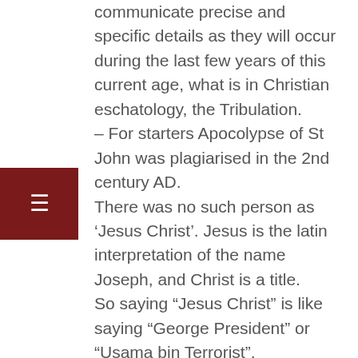communicate precise and specific details as they will occur during the last few years of this current age, what is in Christian eschatology, the Tribulation.
– For starters Apocolypse of St John was plagiarised in the 2nd century AD.
There was no such person as 'Jesus Christ'. Jesus is the latin interpretation of the name Joseph, and Christ is a title.
So saying "Jesus Christ" is like saying "George President" or "Usama bin Terrorist". Revelations is only predictive in the feeble minds of doomseekers who are deliberately trying to invoke Armageddon, and then blame the mess/carnage they create on an imaginary boogeyman – Satan. FYI Satan is a hebrew word with the literal meaning of 'enemy of man'. So could have been anything from extraterrestrial